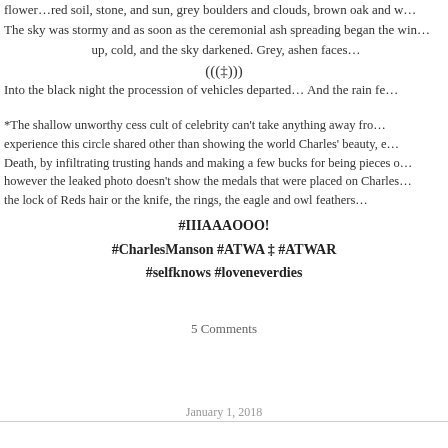flower…red soil, stone, and sun, grey boulders and clouds, brown oak and w…
The sky was stormy and as soon as the ceremonial ash spreading began the win… up, cold, and the sky darkened. Grey, ashen faces…
(((‡)))
Into the black night the procession of vehicles departed… And the rain fe…
*The shallow unworthy cess cult of celebrity can't take anything away from… experience this circle shared other than showing the world Charles' beauty, e… Death, by infiltrating trusting hands and making a few bucks for being pieces o… however the leaked photo doesn't show the medals that were placed on Charles… the lock of Reds hair or the knife, the rings, the eagle and owl feathers…
#IIIAAAOOO!
#CharlesManson #ATWA ‡ #ATWAR
#selfknows #loveneverdies
5 Comments
January 1, 2018